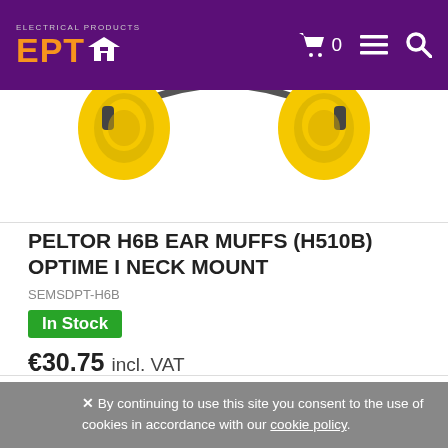EPT logo and navigation with cart (0), menu, and search icons
[Figure (photo): Yellow and black Peltor H6B ear muffs / hearing protection with neck band, partially cropped at top]
PELTOR H6B EAR MUFFS (H510B) OPTIME I NECK MOUNT
SEMSDPT-H6B
In Stock
€30.75 incl. VAT
Qty 1 Add to Cart
✕ By continuing to use this site you consent to the use of cookies in accordance with our cookie policy.